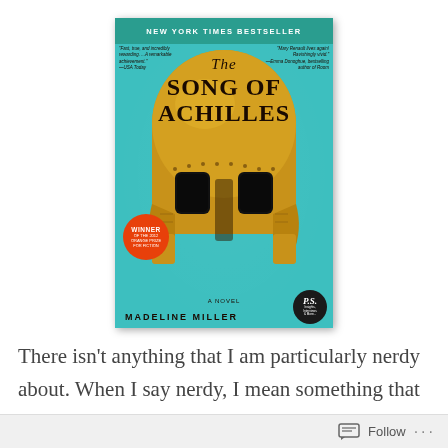[Figure (illustration): Book cover of 'The Song of Achilles' by Madeline Miller. Teal background with a large golden Greek helmet in the center. Top reads 'NEW YORK TIMES BESTSELLER'. Left blurb: 'Fast, true, and incredibly rewarding. ... A remarkable achievement.' —USA Today. Right blurb: 'Mary Renault lives again! Ravishingly vivid.' —Emma Donoghue, bestselling author of Room. Title text 'The Song of Achilles' in large script/serif. Bottom: 'A Novel' and 'MADELINE MILLER'. Orange circle badge: 'Winner of the 2012 Orange Prize for Fiction'. Black circle: 'P.S.' logo.]
There isn't anything that I am particularly nerdy about. When I say nerdy, I mean something that I
Follow ···